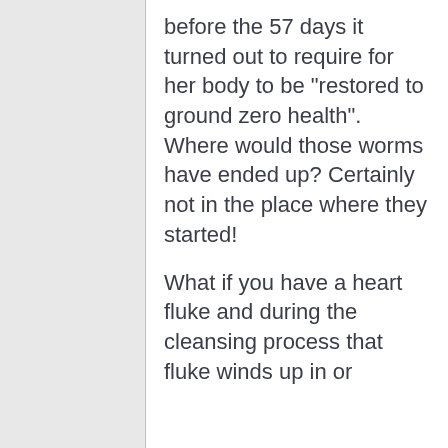before the 57 days it turned out to require for her body to be "restored to ground zero health". Where would those worms have ended up? Certainly not in the place where they started!
What if you have a heart fluke and during the cleansing process that fluke winds up in or